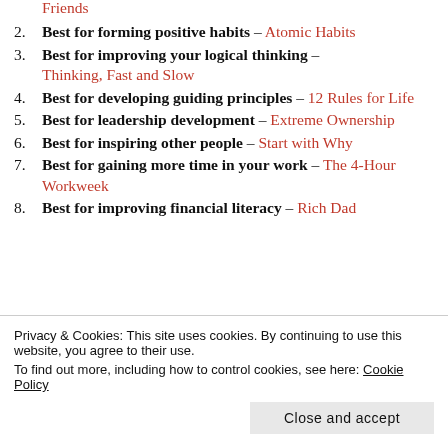Friends (partial, item 1 continuation)
2. Best for forming positive habits – Atomic Habits
3. Best for improving your logical thinking – Thinking, Fast and Slow
4. Best for developing guiding principles – 12 Rules for Life
5. Best for leadership development – Extreme Ownership
6. Best for inspiring other people – Start with Why
7. Best for gaining more time in your work – The 4-Hour Workweek
8. Best for improving financial literacy – Rich Dad (partial)
Privacy & Cookies: This site uses cookies. By continuing to use this website, you agree to their use. To find out more, including how to control cookies, see here: Cookie Policy
Close and accept